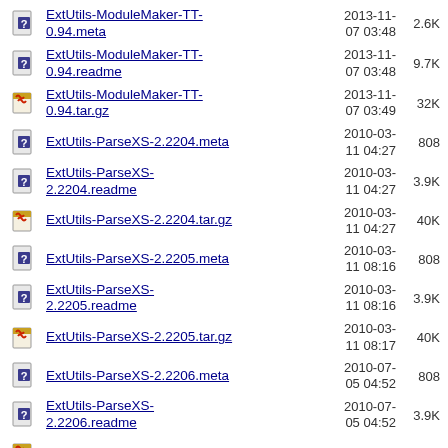ExtUtils-ModuleMaker-TT-0.94.meta  2013-11-07 03:48  2.6K
ExtUtils-ModuleMaker-TT-0.94.readme  2013-11-07 03:48  9.7K
ExtUtils-ModuleMaker-TT-0.94.tar.gz  2013-11-07 03:49  32K
ExtUtils-ParseXS-2.2204.meta  2010-03-11 04:27  808
ExtUtils-ParseXS-2.2204.readme  2010-03-11 04:27  3.9K
ExtUtils-ParseXS-2.2204.tar.gz  2010-03-11 04:27  40K
ExtUtils-ParseXS-2.2205.meta  2010-03-11 08:16  808
ExtUtils-ParseXS-2.2205.readme  2010-03-11 08:16  3.9K
ExtUtils-ParseXS-2.2205.tar.gz  2010-03-11 08:17  40K
ExtUtils-ParseXS-2.2206.meta  2010-07-05 04:52  808
ExtUtils-ParseXS-2.2206.readme  2010-07-05 04:52  3.9K
ExtUtils-ParseXS-2.2206.tar.gz  2010-07-